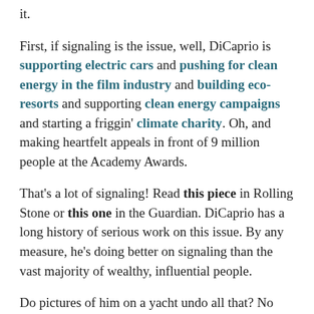it.
First, if signaling is the issue, well, DiCaprio is supporting electric cars and pushing for clean energy in the film industry and building eco-resorts and supporting clean energy campaigns and starting a friggin' climate charity. Oh, and making heartfelt appeals in front of 9 million people at the Academy Awards.
That's a lot of signaling! Read this piece in Rolling Stone or this one in the Guardian. DiCaprio has a long history of serious work on this issue. By any measure, he's doing better on signaling than the vast majority of wealthy, influential people.
Do pictures of him on a yacht undo all that? No one's provided any evidence to support that claim.